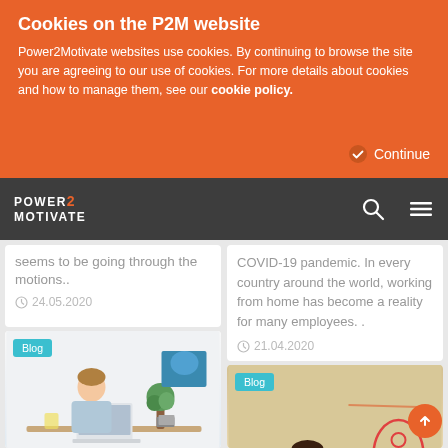Cookies on the P2M website
Power2Motivate websites use cookies. By continuing to browse the site you are agreeing to our use of cookies. For more details about cookies and how to manage them, see our cookie policy.
Continue
[Figure (logo): Power2Motivate logo with search and menu icons on dark grey navigation bar]
seems to be going through the motions..
24.05.2020
COVID-19 pandemic. In every country around the world, working from home has become a reality for many employees. .
21.04.2020
Blog
[Figure (photo): Man working at laptop at a desk with a plant in background, office setting]
Motivating Remote Employees
Blog
[Figure (photo): Child with jetpack costume next to rocket drawing on tan background]